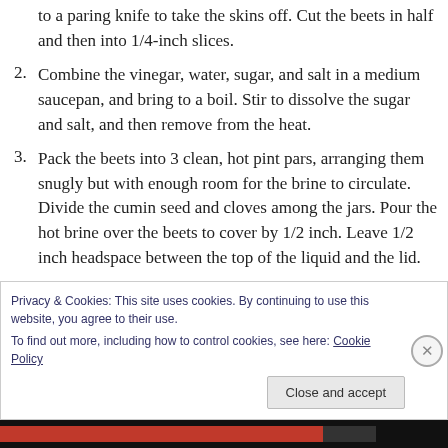to a paring knife to take the skins off. Cut the beets in half and then into 1/4-inch slices.
2. Combine the vinegar, water, sugar, and salt in a medium saucepan, and bring to a boil. Stir to dissolve the sugar and salt, and then remove from the heat.
3. Pack the beets into 3 clean, hot pint pars, arranging them snugly but with enough room for the brine to circulate. Divide the cumin seed and cloves among the jars. Pour the hot brine over the beets to cover by 1/2 inch. Leave 1/2 inch headspace between the top of the liquid and the lid.
Privacy & Cookies: This site uses cookies. By continuing to use this website, you agree to their use.
To find out more, including how to control cookies, see here: Cookie Policy